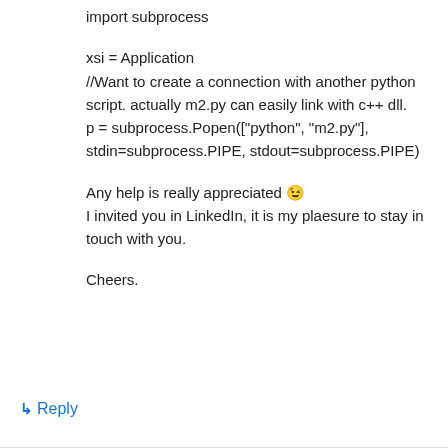import subprocess

xsi = Application
//Want to create a connection with another python script. actually m2.py can easily link with c++ dll.
p = subprocess.Popen(["python", "m2.py"], stdin=subprocess.PIPE, stdout=subprocess.PIPE)

Any help is really appreciated 😉
I invited you in LinkedIn, it is my plaesure to stay in touch with you.

Cheers.
↳ Reply